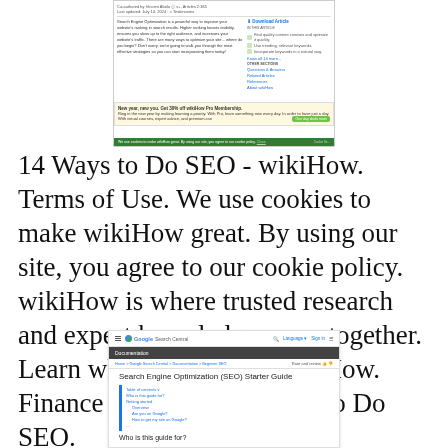[Figure (screenshot): Screenshot of a wikiHow article page about SEO with a promotional banner for wikiHow Pro Membership and a cookie consent bar at the bottom.]
14 Ways to Do SEO - wikiHow. Terms of Use. We use cookies to make wikiHow great. By using our site, you agree to our cookie policy. wikiHow is where trusted research and expert knowledge come together. Learn why people trust wikiHow. Finance and Business. How to Do SEO.
[Figure (screenshot): Screenshot of Google Search Central documentation page showing the Search Engine Optimization (SEO) Starter Guide with a table of contents sidebar including items like 'Who is this guide for?', 'Getting started', 'Overview', 'Are you on Google?', 'How to get my site on Google?']